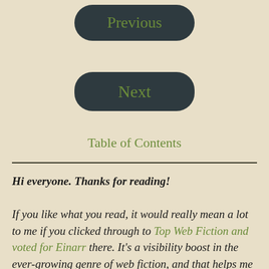[Figure (other): Dark rounded rectangle button labeled 'Previous' in green text]
[Figure (other): Dark rounded rectangle button labeled 'Next' in green text]
Table of Contents
Hi everyone. Thanks for reading!

If you like what you read, it would really mean a lot to me if you clicked through to Top Web Fiction and voted for Einarr there. It's a visibility boost in the ever-growing genre of web fiction, and that helps me out a lot. There's